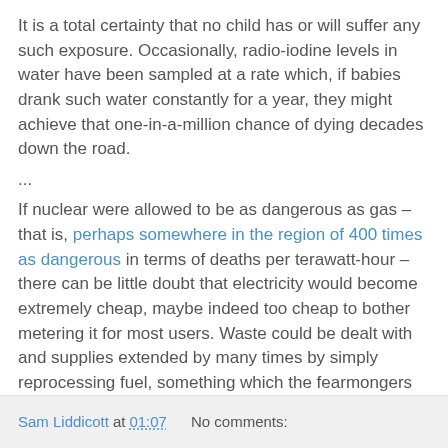It is a total certainty that no child has or will suffer any such exposure. Occasionally, radio-iodine levels in water have been sampled at a rate which, if babies drank such water constantly for a year, they might achieve that one-in-a-million chance of dying decades down the road.
...
If nuclear were allowed to be as dangerous as gas – that is, perhaps somewhere in the region of 400 times as dangerous in terms of deaths per terawatt-hour – there can be little doubt that electricity would become extremely cheap, maybe indeed too cheap to bother metering it for most users. Waste could be dealt with and supplies extended by many times by simply reprocessing fuel, something which the fearmongers have already managed to ban in many countries.
Sam Liddicott at 01:07    No comments: